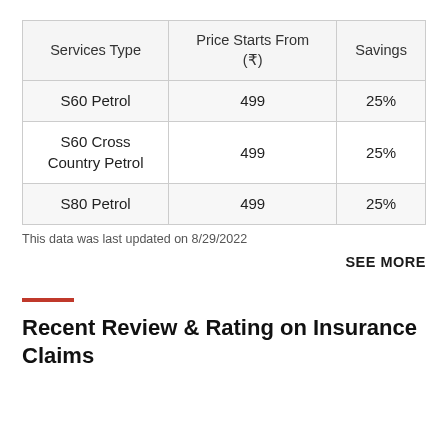| Services Type | Price Starts From (₹) | Savings |
| --- | --- | --- |
| S60 Petrol | 499 | 25% |
| S60 Cross Country Petrol | 499 | 25% |
| S80 Petrol | 499 | 25% |
This data was last updated on 8/29/2022
SEE MORE
Recent Review & Rating on Insurance Claims